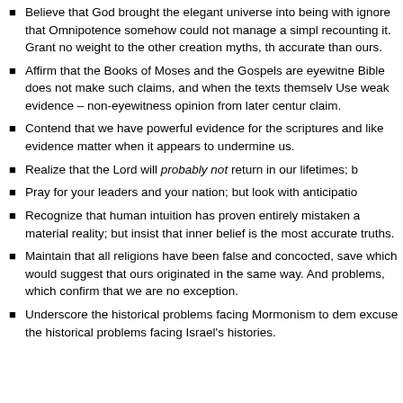Believe that God brought the elegant universe into being with ignore that Omnipotence somehow could not manage a simple recounting it. Grant no weight to the other creation myths, the accurate than ours.
Affirm that the Books of Moses and the Gospels are eyewitne Bible does not make such claims, and when the texts themsel Use weak evidence – non-eyewitness opinion from later centur claim.
Contend that we have powerful evidence for the scriptures and like evidence matter when it appears to undermine us.
Realize that the Lord will probably not return in our lifetimes; b
Pray for your leaders and your nation; but look with anticipatio
Recognize that human intuition has proven entirely mistaken a material reality; but insist that inner belief is the most accurate truths.
Maintain that all religions have been false and concocted, save which would suggest that ours originated in the same way. And problems, which confirm that we are no exception.
Underscore the historical problems facing Mormonism to dem excuse the historical problems facing Israel's histories.